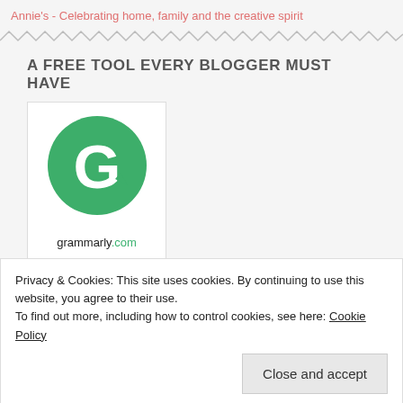Annie's - Celebrating home, family and the creative spirit
A FREE TOOL EVERY BLOGGER MUST HAVE
[Figure (logo): Grammarly logo: green circle with white G and arrow, text 'grammarly.com' below]
Privacy & Cookies: This site uses cookies. By continuing to use this website, you agree to their use.
To find out more, including how to control cookies, see here: Cookie Policy
Close and accept